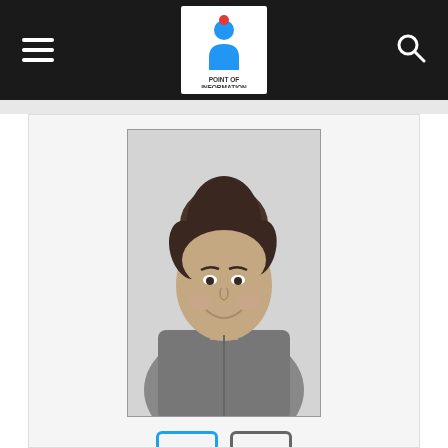Point Of Information — navigation bar
[Figure (photo): Black and white portrait photo of Eleanor Roberts, a young woman with her hair up in a bun, smiling, wearing a zip-up hoodie]
[Figure (other): Twitter bird icon button (blue border)]
[Figure (other): Globe/website icon button (grey border)]
Eleanor Roberts
Head of HR & Recruitment at Point Of Information | Website
I'm a third year University of Manchester student, currently studying in Lyon on my Erasmus year (by sheer